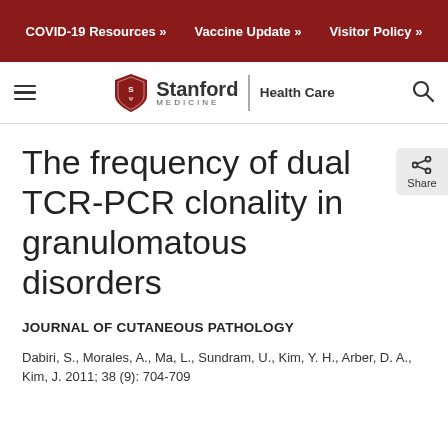COVID-19 Resources »   Vaccine Update »   Visitor Policy »
[Figure (logo): Stanford Medicine Health Care logo with hamburger menu and search icon in navigation bar]
The frequency of dual TCR-PCR clonality in granulomatous disorders
JOURNAL OF CUTANEOUS PATHOLOGY
Dabiri, S., Morales, A., Ma, L., Sundram, U., Kim, Y. H., Arber, D. A., Kim, J. 2011; 38 (9): 704-709